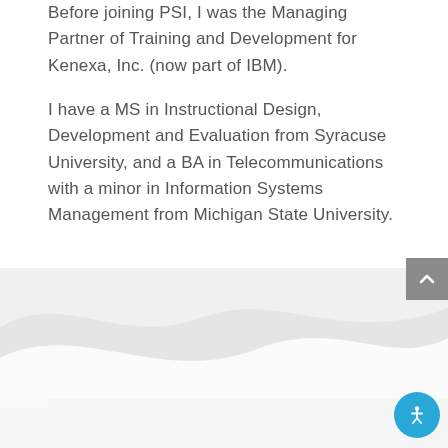Before joining PSI, I was the Managing Partner of Training and Development for Kenexa, Inc. (now part of IBM).
I have a MS in Instructional Design, Development and Evaluation from Syracuse University, and a BA in Telecommunications with a minor in Information Systems Management from Michigan State University.
[Figure (illustration): Decorative wave background footer area with light gray and white wave shapes, a gray scroll-to-top button in the upper right, a blue circular accessibility icon in the lower right, and a light gray card strip at the bottom.]